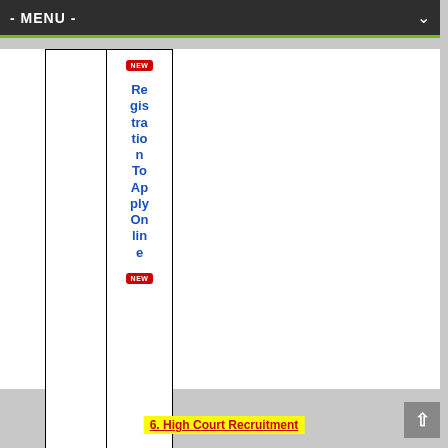- MENU -
| [NEW badge] | Registration To Apply Online [NEW badge] |
|  | Login To Apply Online [NEW badge] |
6. High Court Recruitment